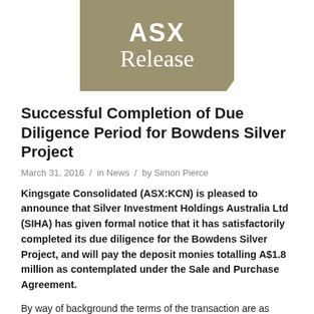[Figure (logo): ASX Release logo — tan/khaki rectangular badge with white text reading 'ASX' and 'Release']
Successful Completion of Due Diligence Period for Bowdens Silver Project
March 31, 2016 / in News / by Simon Pierce
Kingsgate Consolidated (ASX:KCN) is pleased to announce that Silver Investment Holdings Australia Ltd (SIHA) has given formal notice that it has satisfactorily completed its due diligence for the Bowdens Silver Project, and will pay the deposit monies totalling A$1.8 million as contemplated under the Sale and Purchase Agreement.
By way of background the terms of the transaction are as follows:
On completion of the acquisition, Kingsgate and SIHA will